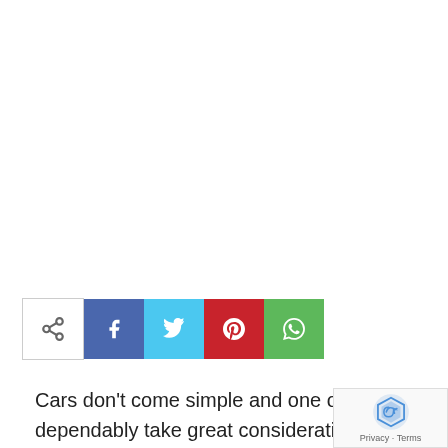[Figure (infographic): Social media share bar with share toggle icon, Facebook, Twitter, Pinterest, and WhatsApp buttons]
Cars don't come simple and one ought to dependably take great consideration of them. In the wake of obtaining your fantasy vehicle, you ought to attempt to keep it in a decent condition. Thus, you generally need to hold it under normal